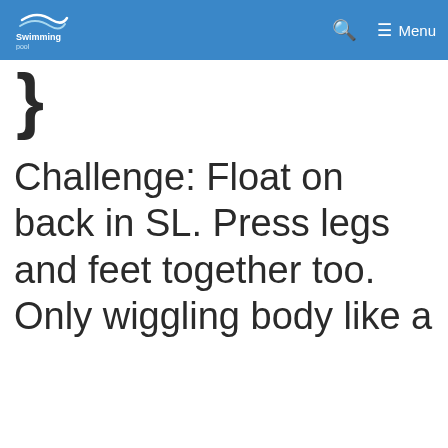Swimming [logo] | Menu
}
Challenge: Float on back in SL. Press legs and feet together too. Only wiggling body like a